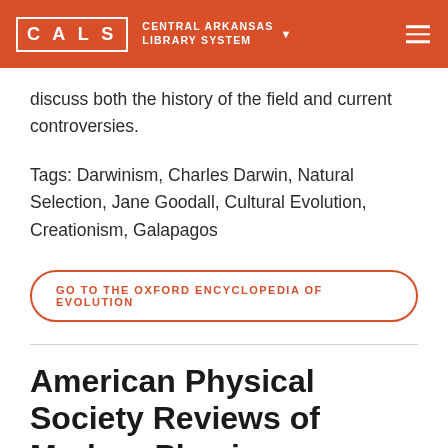CALS CENTRAL ARKANSAS LIBRARY SYSTEM
discuss both the history of the field and current controversies.
Tags: Darwinism, Charles Darwin, Natural Selection, Jane Goodall, Cultural Evolution, Creationism, Galapagos
GO TO THE OXFORD ENCYCLOPEDIA OF EVOLUTION
American Physical Society Reviews of Modern Physics